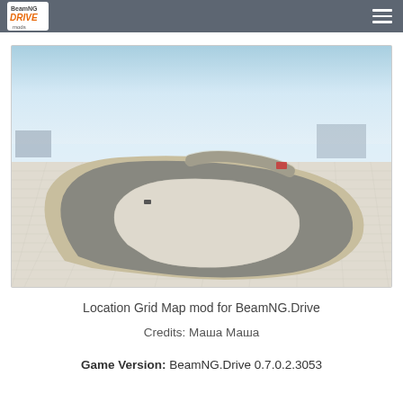BeamNG Drive Mods
[Figure (screenshot): 3D rendered view of a Location Grid Map mod for BeamNG.Drive showing a curved racing track on a flat grid surface with a light sky background]
Location Grid Map mod for BeamNG.Drive
Credits: Маша Маша
Game Version: BeamNG.Drive 0.7.0.2.3053